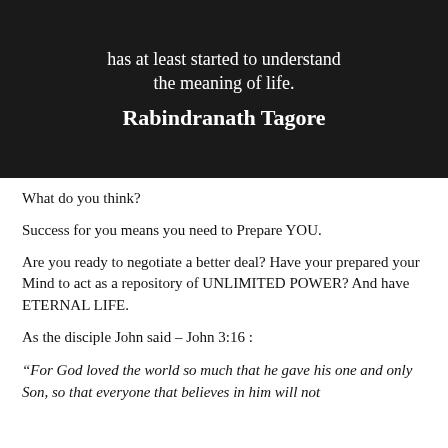[Figure (photo): Dark background image (appears to show hands) with white text overlay: 'has at least started to understand the meaning of life.' and attribution 'Rabindranath Tagore' in bold.]
What do you think?
Success for you means you need to Prepare YOU.
Are you ready to negotiate a better deal? Have your prepared your Mind to act as a repository of UNLIMITED POWER? And have ETERNAL LIFE.
As the disciple John said – John 3:16 :
“For God loved the world so much that he gave his one and only Son, so that everyone that believes in him will not